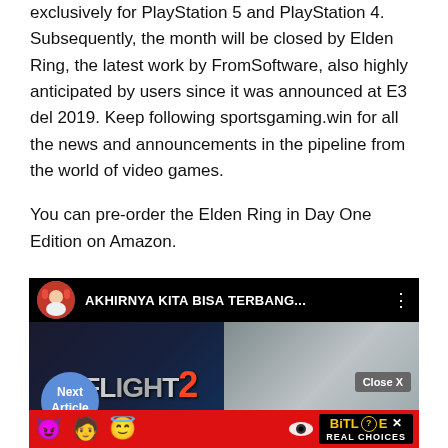exclusively for PlayStation 5 and PlayStation 4. Subsequently, the month will be closed by Elden Ring, the latest work by FromSoftware, also highly anticipated by users since it was announced at E3 del 2019. Keep following sportsgaming.win for all the news and announcements in the pipeline from the world of video games.
You can pre-order the Elden Ring in Day One Edition on Amazon.
[Figure (screenshot): YouTube/video ad embed showing a video titled 'AKHIRNYA KITA BISA TERBANG...' with a thumbnail showing a game called FLIGHT 2. A 'Next Article' button is overlaid, a 'Close X' button, and a BitLife 'REAL CHOICES' banner advertisement at the bottom with emoji characters.]